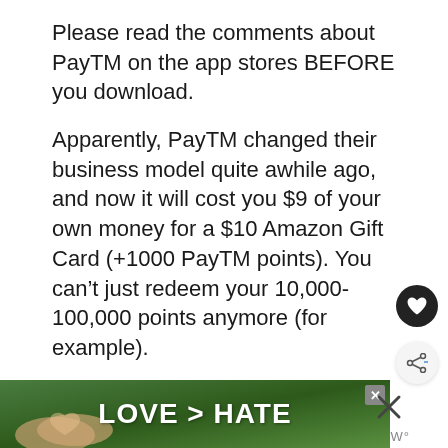Please read the comments about PayTM on the app stores BEFORE you download.
Apparently, PayTM changed their business model quite awhile ago, and now it will cost you $9 of your own money for a $10 Amazon Gift Card (+1000 PayTM points). You can't just redeem your 10,000-100,000 points anymore (for example).
[Figure (photo): Advertisement banner at the bottom of the page showing hands making a heart shape with text 'LOVE > HATE' on a green background]